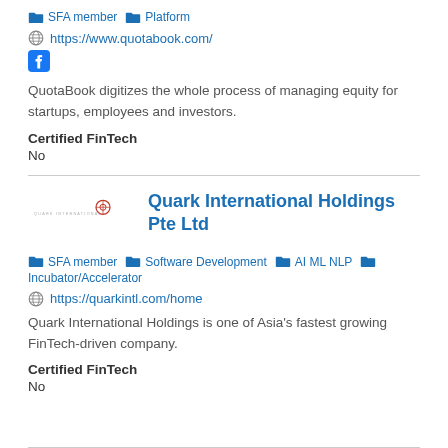SFA member   Platform
https://www.quotabook.com/
QuotaBook digitizes the whole process of managing equity for startups, employees and investors.
Certified FinTech
No
Quark International Holdings Pte Ltd
SFA member   Software Development   AI ML NLP   Incubator/Accelerator
https://quarkintl.com/home
Quark International Holdings is one of Asia's fastest growing FinTech-driven company.
Certified FinTech
No